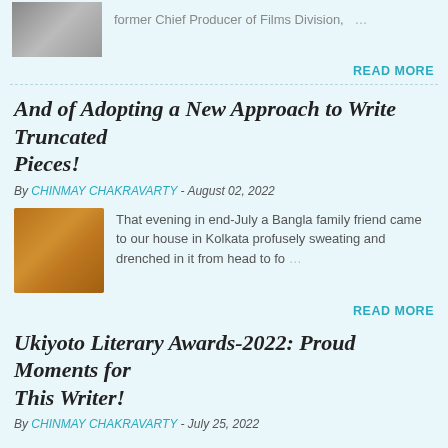former Chief Producer of Films Division, …
READ MORE
And of Adopting a New Approach to Write Truncated Pieces!
By CHINMAY CHAKRAVARTY - August 02, 2022
[Figure (photo): Photo of a fried food item, brownish texture on a plate]
That evening in end-July a Bangla family friend came to our house in Kolkata profusely sweating and drenched in it from head to fo …
READ MORE
Ukiyoto Literary Awards-2022: Proud Moments for This Writer!
By CHINMAY CHAKRAVARTY - July 25, 2022